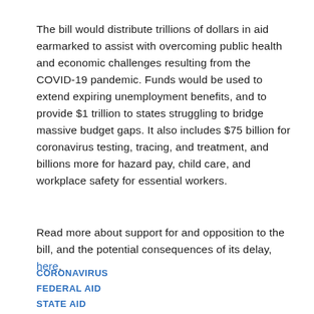The bill would distribute trillions of dollars in aid earmarked to assist with overcoming public health and economic challenges resulting from the COVID-19 pandemic. Funds would be used to extend expiring unemployment benefits, and to provide $1 trillion to states struggling to bridge massive budget gaps. It also includes $75 billion for coronavirus testing, tracing, and treatment, and billions more for hazard pay, child care, and workplace safety for essential workers.
Read more about support for and opposition to the bill, and the potential consequences of its delay, here.
CORONAVIRUS
FEDERAL AID
STATE AID